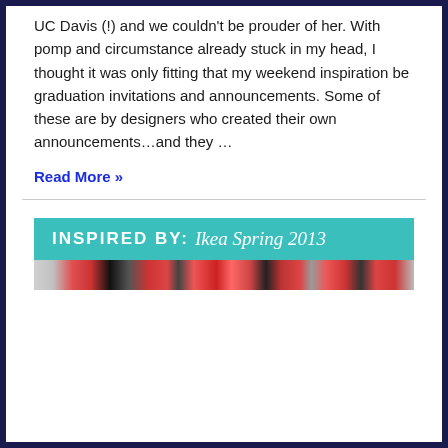UC Davis (!) and we couldn't be prouder of her. With pomp and circumstance already stuck in my head, I thought it was only fitting that my weekend inspiration be graduation invitations and announcements. Some of these are by designers who created their own announcements…and they …
Read More »
[Figure (other): Banner image reading 'INSPIRED BY: Ikea Spring 2013' on a teal background, with a decorative photo strip below showing floral/patterned fabric in red, black, and white]